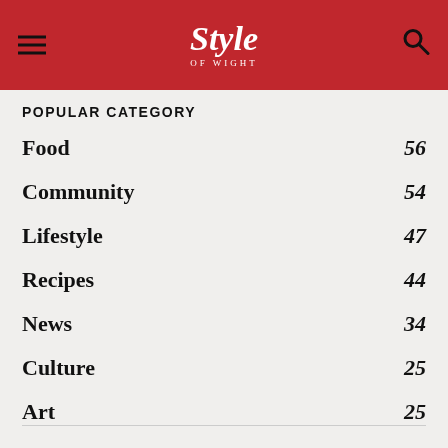Style of Wight
POPULAR CATEGORY
Food  56
Community  54
Lifestyle  47
Recipes  44
News  34
Culture  25
Art  25
Reader Offers  24
Business  19